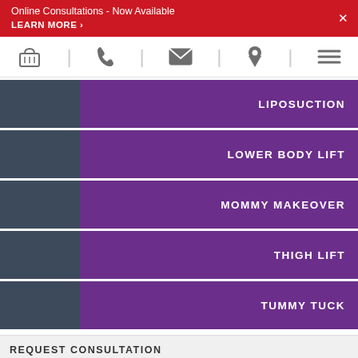Online Consultations - Now Available
LEARN MORE ›
[Figure (other): Navigation bar with icons: shopping basket, phone, envelope, location pin, hamburger menu, separated by vertical lines]
LIPOSUCTION
LOWER BODY LIFT
MOMMY MAKEOVER
THIGH LIFT
TUMMY TUCK
REQUEST CONSULTATION
Full Name